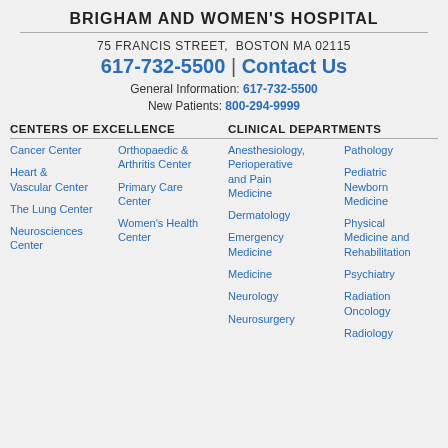BRIGHAM AND WOMEN'S HOSPITAL
75 FRANCIS STREET, BOSTON MA 02115
617-732-5500 | Contact Us
General Information: 617-732-5500
New Patients: 800-294-9999
CENTERS OF EXCELLENCE
CLINICAL DEPARTMENTS
Cancer Center
Heart & Vascular Center
The Lung Center
Neurosciences Center
Orthopaedic & Arthritis Center
Primary Care Center
Women's Health Center
Anesthesiology, Perioperative and Pain Medicine
Dermatology
Emergency Medicine
Medicine
Neurology
Neurosurgery
Pathology
Pediatric Newborn Medicine
Physical Medicine and Rehabilitation
Psychiatry
Radiation Oncology
Radiology